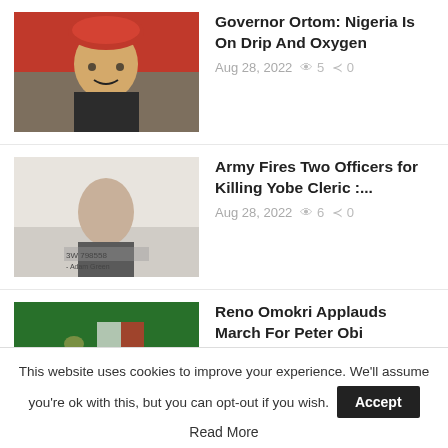Governor Ortom: Nigeria Is On Drip And Oxygen
Aug 28, 2022  5  0
Army Fires Two Officers for Killing Yobe Cleric :...
Aug 28, 2022  6  0
Reno Omokri Applauds March For Peter Obi Recipients:...
Aug 28, 2022  8  0
Wike to Lamido: Only Nigerians with a primary school...
Aug 28, 2022  4  0
18-foot pet snake is shot by US police after strangling...
This website uses cookies to improve your experience. We'll assume you're ok with this, but you can opt-out if you wish. Accept
Read More